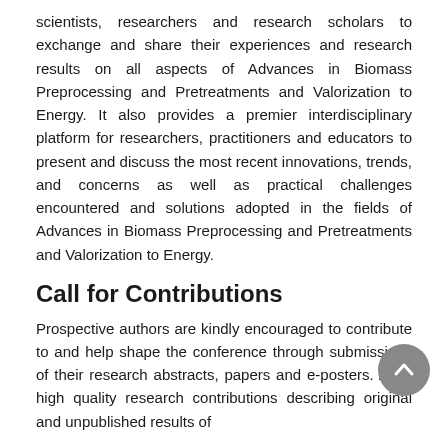scientists, researchers and research scholars to exchange and share their experiences and research results on all aspects of Advances in Biomass Preprocessing and Pretreatments and Valorization to Energy. It also provides a premier interdisciplinary platform for researchers, practitioners and educators to present and discuss the most recent innovations, trends, and concerns as well as practical challenges encountered and solutions adopted in the fields of Advances in Biomass Preprocessing and Pretreatments and Valorization to Energy.
Call for Contributions
Prospective authors are kindly encouraged to contribute to and help shape the conference through submissions of their research abstracts, papers and e-posters. Also, high quality research contributions describing original and unpublished results of